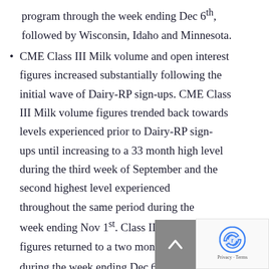program through the week ending Dec 6th, followed by Wisconsin, Idaho and Minnesota.
CME Class III Milk volume and open interest figures increased substantially following the initial wave of Dairy-RP sign-ups. CME Class III Milk volume figures trended back towards levels experienced prior to Dairy-RP sign-ups until increasing to a 33 month high level during the third week of September and the second highest level experienced throughout the same period during the week ending Nov 1st. Class III Milk volume figures returned to a two month low level during the week ending Dec 6th, however...